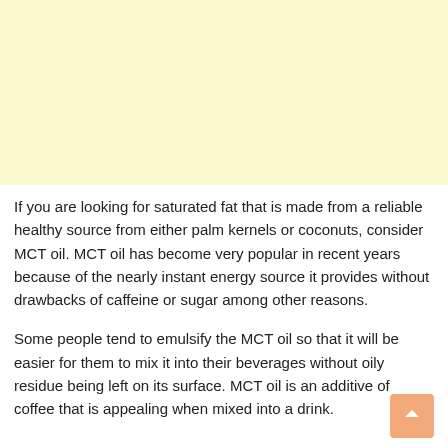[Figure (other): Light yellow advertisement banner placeholder area]
If you are looking for saturated fat that is made from a reliable healthy source from either palm kernels or coconuts, consider MCT oil. MCT oil has become very popular in recent years because of the nearly instant energy source it provides without drawbacks of caffeine or sugar among other reasons.
Some people tend to emulsify the MCT oil so that it will be easier for them to mix it into their beverages without oily residue being left on its surface. MCT oil is an additive of coffee that is appealing when mixed into a drink.